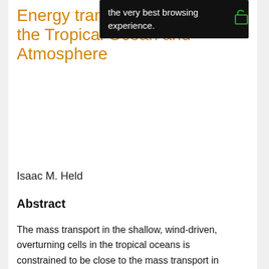Energy transport between the Tropical Ocean and Atmosphere
Isaac M. Held
Abstract
The mass transport in the shallow, wind-driven, overturning cells in the tropical oceans is constrained to be close to the mass transport in the atmospheric Hadley cell, assuming that zonally integrated wind stresses on land are relatively small. Therefore, the ratio of the poleward energy transport in low latitudes in the two media is determined by the ratio of the atmospheric gross static stability to that of the